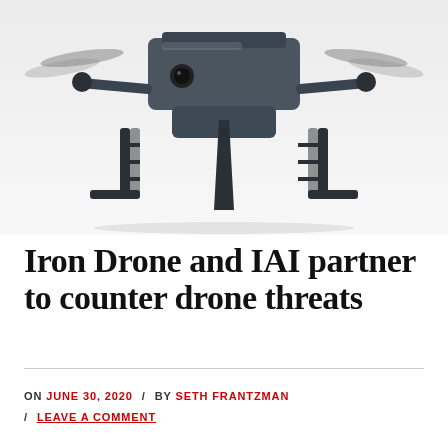[Figure (photo): A dark gray quadcopter drone with four propellers, latticed landing gear legs, and a front-mounted camera, photographed against a white background from a front-low angle.]
Iron Drone and IAI partner to counter drone threats
ON JUNE 30, 2020 / BY SETH FRANTZMAN / LEAVE A COMMENT